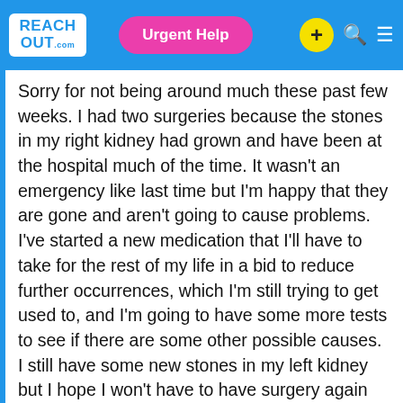ReachOut.com | Urgent Help
Sorry for not being around much these past few weeks. I had two surgeries because the stones in my right kidney had grown and have been at the hospital much of the time. It wasn't an emergency like last time but I'm happy that they are gone and aren't going to cause problems. I've started a new medication that I'll have to take for the rest of my life in a bid to reduce further occurrences, which I'm still trying to get used to, and I'm going to have some more tests to see if there are some other possible causes. I still have some new stones in my left kidney but I hope I won't have to have surgery again for a while. My nephrologist seems to think it's from the family history and my IBS (which also has a family history), which could be causing issues with absorbing calcium.